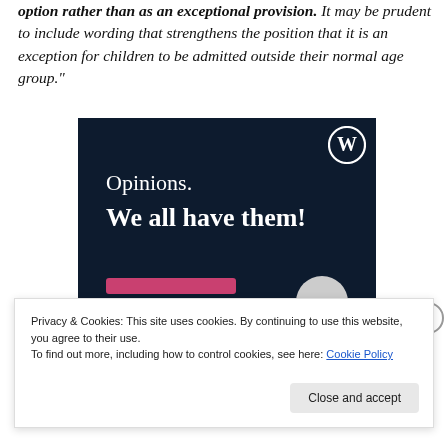option rather than as an exceptional provision. It may be prudent to include wording that strengthens the position that it is an exception for children to be admitted outside their normal age group."
[Figure (illustration): WordPress.com advertisement banner with dark navy background showing text 'Opinions. We all have them!' with the WordPress W logo in top right corner, a pink button bar and a light grey circle at the bottom.]
Privacy & Cookies: This site uses cookies. By continuing to use this website, you agree to their use.
To find out more, including how to control cookies, see here: Cookie Policy